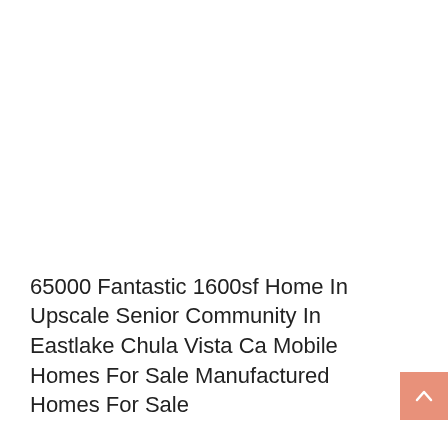65000 Fantastic 1600sf Home In Upscale Senior Community In Eastlake Chula Vista Ca Mobile Homes For Sale Manufactured Homes For Sale